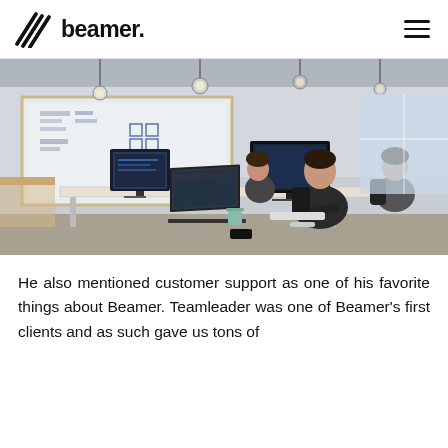beamer.
[Figure (photo): Office scene with people working at desks with computers, whiteboards on the wall, pendant lights hanging from ceiling]
He also mentioned customer support as one of his favorite things about Beamer. Teamleader was one of Beamer's first clients and as such gave us tons of